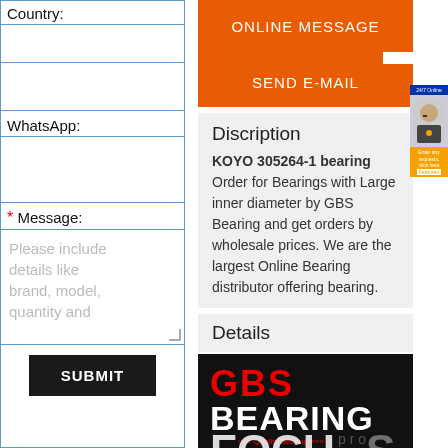Country:
WhatsApp:
* Message:
Please include details like brand, model, quantity and
SUBMIT
ONLINE MESSAGE
SEND E-MAIL
Discription
KOYO 305264-1 bearing Order for Bearings with Large inner diameter by GBS Bearing and get orders by wholesale prices. We are the largest Online Bearing distributor offering bearing.
Details
[Figure (logo): GBS Bearing logo with 'Quality Bearing' text and partial 'FOCUS' text below]